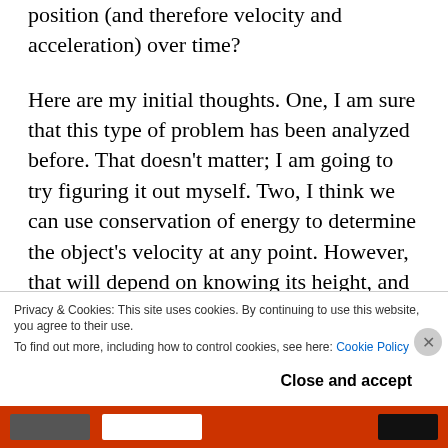position (and therefore velocity and acceleration) over time?
Here are my initial thoughts. One, I am sure that this type of problem has been analyzed before. That doesn't matter; I am going to try figuring it out myself. Two, I think we can use conservation of energy to determine the object's velocity at any point. However, that will depend on knowing its height, and I don't know how this approach would handle the object flying up off a short hill, or dropping away from a cliff. So three, I am going to restrict the object's motion to the curve — consider
Privacy & Cookies: This site uses cookies. By continuing to use this website, you agree to their use.
To find out more, including how to control cookies, see here: Cookie Policy
Close and accept